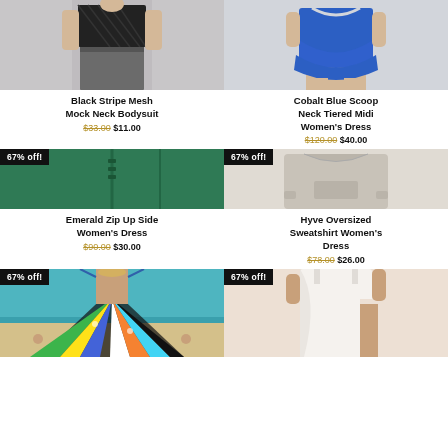[Figure (photo): Model wearing black stripe mesh mock neck bodysuit with grey jeans]
Black Stripe Mesh Mock Neck Bodysuit
$33.00  $11.00
[Figure (photo): Model wearing cobalt blue scoop neck tiered midi dress]
Cobalt Blue Scoop Neck Tiered Midi Women's Dress
$120.00  $40.00
[Figure (photo): Emerald zip up side dress product photo, 67% off badge]
67% off!
Emerald Zip Up Side Women's Dress
$90.00  $30.00
[Figure (photo): Hyve oversized sweatshirt women's dress product photo, 67% off badge]
67% off!
Hyve Oversized Sweatshirt Women's Dress
$78.00  $26.00
[Figure (photo): Model on beach holding colorful butterfly/anchor maxi dress, 67% off badge]
67% off!
[Figure (photo): Model wearing white wrap dress with slit, 67% off badge]
67% off!